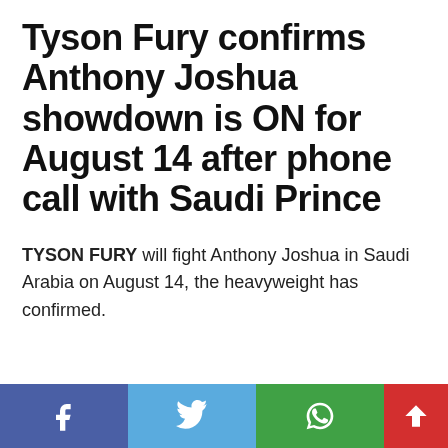Tyson Fury confirms Anthony Joshua showdown is ON for August 14 after phone call with Saudi Prince
TYSON FURY will fight Anthony Joshua in Saudi Arabia on August 14, the heavyweight has confirmed.
[Figure (other): Social media share bar with Facebook, Twitter, WhatsApp, and scroll-up buttons]